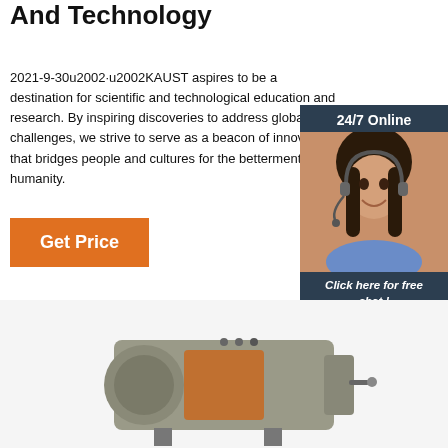And Technology
2021-9-30u2002·u2002KAUST aspires to be a destination for scientific and technological education and research. By inspiring discoveries to address global challenges, we strive to serve as a beacon of innovation that bridges people and cultures for the betterment of humanity.
Get Price
[Figure (photo): Customer service representative with headset, 24/7 online chat widget with 'Click here for free chat!' text and QUOTATION button]
[Figure (photo): Industrial boiler or machinery product photo at bottom of page]